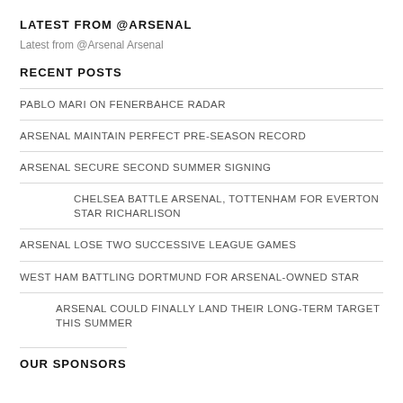LATEST FROM @ARSENAL
Latest from @Arsenal Arsenal
RECENT POSTS
PABLO MARI ON FENERBAHCE RADAR
ARSENAL MAINTAIN PERFECT PRE-SEASON RECORD
ARSENAL SECURE SECOND SUMMER SIGNING
CHELSEA BATTLE ARSENAL, TOTTENHAM FOR EVERTON STAR RICHARLISON
ARSENAL LOSE TWO SUCCESSIVE LEAGUE GAMES
WEST HAM BATTLING DORTMUND FOR ARSENAL-OWNED STAR
ARSENAL COULD FINALLY LAND THEIR LONG-TERM TARGET THIS SUMMER
OUR SPONSORS